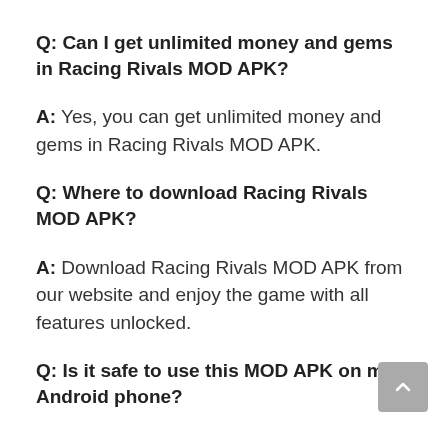Q: Can I get unlimited money and gems in Racing Rivals MOD APK?
A: Yes, you can get unlimited money and gems in Racing Rivals MOD APK.
Q: Where to download Racing Rivals MOD APK?
A: Download Racing Rivals MOD APK from our website and enjoy the game with all features unlocked.
Q: Is it safe to use this MOD APK on my Android phone?